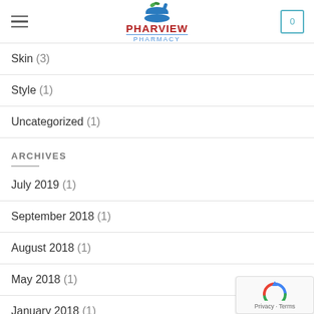PHARVIEW PHARMACY
Skin (3)
Style (1)
Uncategorized (1)
ARCHIVES
July 2019 (1)
September 2018 (1)
August 2018 (1)
May 2018 (1)
January 2018 (1)